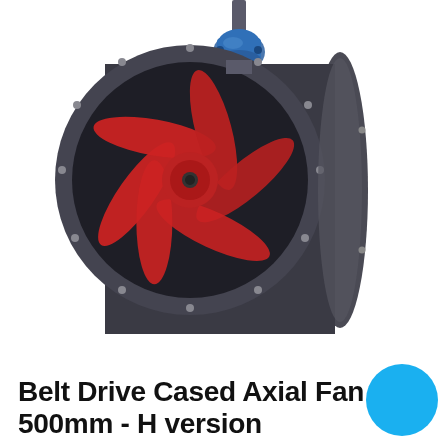[Figure (photo): Belt drive cased axial flow fan with red blades and red hub inside a dark grey cylindrical casing, with a blue electric motor mounted on top via a bracket. The fan is photographed on a white background at a slight angle showing the front face.]
Belt Drive Cased Axial Fan 500mm - H version